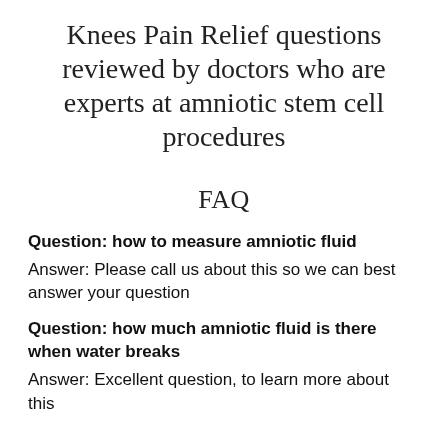Knees Pain Relief questions reviewed by doctors who are experts at amniotic stem cell procedures
FAQ
Question: how to measure amniotic fluid
Answer: Please call us about this so we can best answer your question
Question: how much amniotic fluid is there when water breaks
Answer: Excellent question, to learn more about this